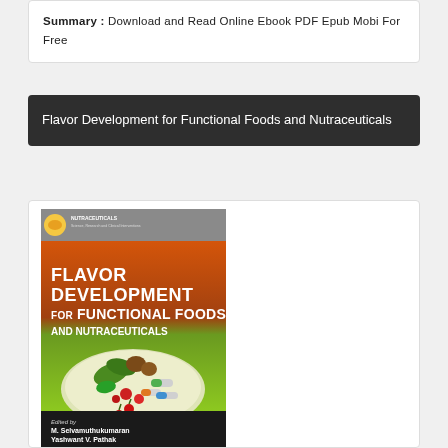Summary : Download and Read Online Ebook PDF Epub Mobi For Free
Flavor Development for Functional Foods and Nutraceuticals
[Figure (photo): Book cover of 'Flavor Development for Functional Foods and Nutraceuticals' edited by M. Selvamuthukumaran and Yashwant V. Pathak. The cover features a gradient background from orange to green, bold white title text, an image of a plate with vegetables, fruits, and capsules arranged in a heart shape, a small nutraceuticals series banner at the top, and editor names at the bottom on a dark background.]